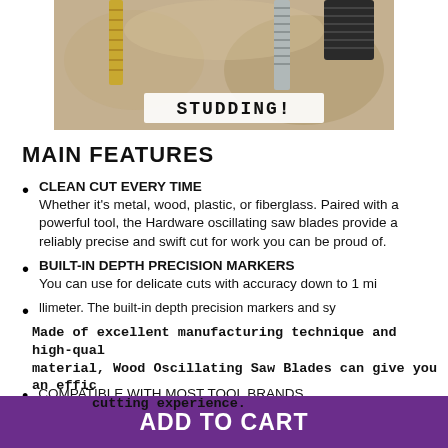[Figure (photo): Photo of screws/bolts and hardware in stone/concrete, with 'STUDDING!' label overlay in typewriter font]
MAIN FEATURES
CLEAN CUT EVERY TIME
Whether it's metal, wood, plastic, or fiberglass. Paired with a powerful tool, the Hardware oscillating saw blades provide a reliably precise and swift cut for work you can be proud of.
BUILT-IN DEPTH PRECISION MARKERS
You can use for delicate cuts with accuracy down to 1 millimeter. The built-in depth precision markers and symbols help you with every cut.
Made of excellent manufacturing technique and high-quality material, Wood Oscillating Saw Blades can give you an efficient cutting experience.
COMPATIBLE WITH MOST TOOL BRANDS
ADD TO CART